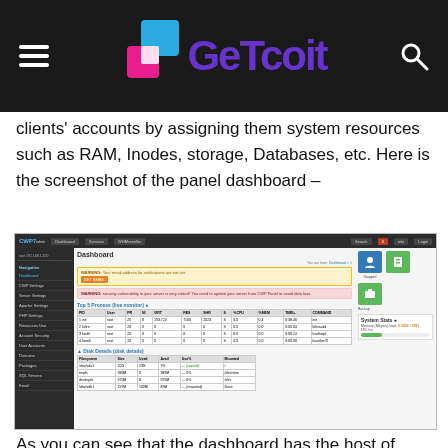GeTcoit
clients' accounts by assigning them system resources such as RAM, Inodes, storage, Databases, etc. Here is the screenshot of the panel dashboard –
[Figure (screenshot): CWP7 control panel dashboard screenshot showing the dashboard interface with navigation sidebar, top processes table, disk details section, and system stats panel with RAM usage indicator.]
As you can see that the dashboard has the host of information about the server it's installed on. You can monitor all the server processes, server stats such as RAM and Swap being consumed by the system, filesystem usage, and services running on the server such as Apache, SSH, Database server, mail server and